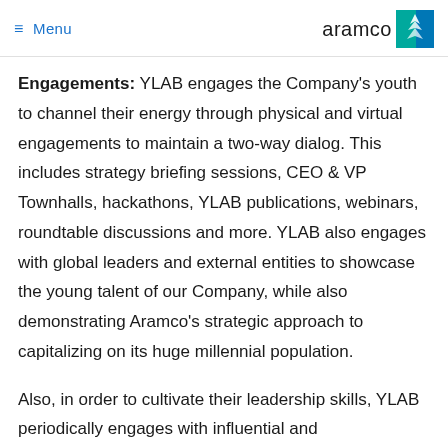≡ Menu | aramco
Engagements: YLAB engages the Company's youth to channel their energy through physical and virtual engagements to maintain a two-way dialog. This includes strategy briefing sessions, CEO & VP Townhalls, hackathons, YLAB publications, webinars, roundtable discussions and more. YLAB also engages with global leaders and external entities to showcase the young talent of our Company, while also demonstrating Aramco's strategic approach to capitalizing on its huge millennial population.
Also, in order to cultivate their leadership skills, YLAB periodically engages with influential and